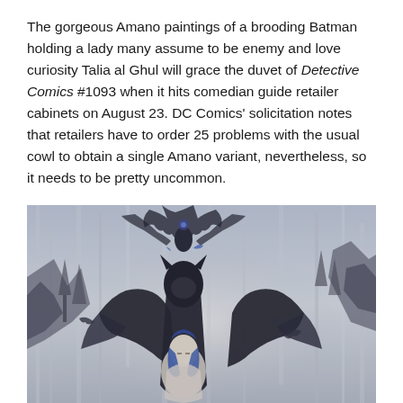The gorgeous Amano paintings of a brooding Batman holding a lady many assume to be enemy and love curiosity Talia al Ghul will grace the duvet of Detective Comics #1093 when it hits comedian guide retailer cabinets on August 23. DC Comics' solicitation notes that retailers have to order 25 problems with the usual cowl to obtain a single Amano variant, nevertheless, so it needs to be pretty uncommon.
[Figure (illustration): Yoshitaka Amano painting depicting Batman with large dark wings holding a woman with blue hair, surrounded by dark gothic imagery and bat-like creatures against a grey atmospheric background.]